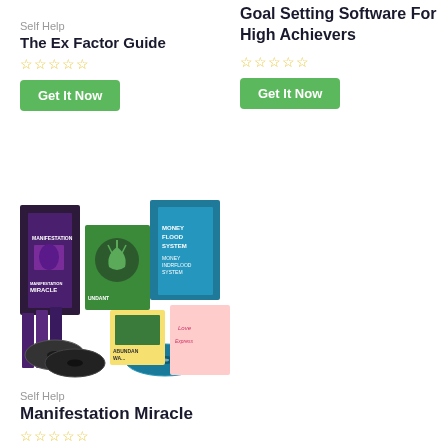Self Help
The Ex Factor Guide
☆☆☆☆☆
Get It Now
Goal Setting Software For High Achievers
☆☆☆☆☆
Get It Now
[Figure (photo): Product bundle image showing Manifestation Miracle, Money Flood System, Abundant, and other related self-help products with CDs and boxes]
Self Help
Manifestation Miracle
☆☆☆☆☆